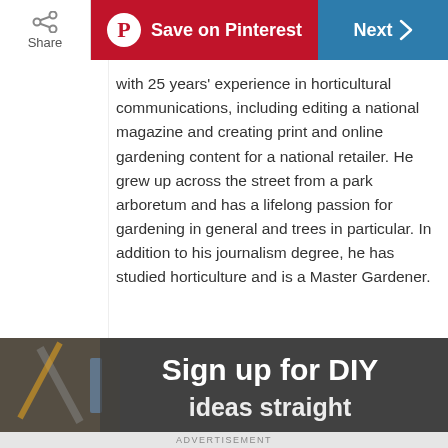Share | Save on Pinterest | Next
with 25 years' experience in horticultural communications, including editing a national magazine and creating print and online gardening content for a national retailer. He grew up across the street from a park arboretum and has a lifelong passion for gardening in general and trees in particular. In addition to his journalism degree, he has studied horticulture and is a Master Gardener.
[Figure (infographic): Sign up for DIY banner advertisement with dark background showing tools]
ADVERTISEMENT